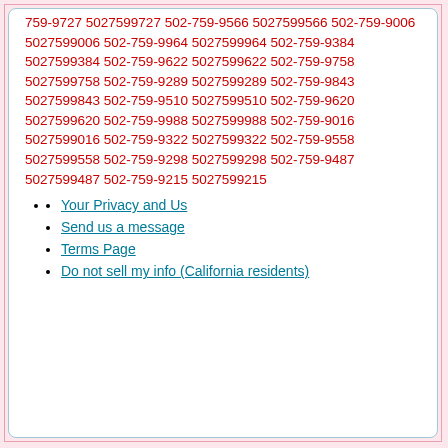759-9727 5027599727 502-759-9566 5027599566 502-759-9006 5027599006 502-759-9964 5027599964 502-759-9384 5027599384 502-759-9622 5027599622 502-759-9758 5027599758 502-759-9289 5027599289 502-759-9843 5027599843 502-759-9510 5027599510 502-759-9620 5027599620 502-759-9988 5027599988 502-759-9016 5027599016 502-759-9322 5027599322 502-759-9558 5027599558 502-759-9298 5027599298 502-759-9487 5027599487 502-759-9215 5027599215
Your Privacy and Us
Send us a message
Terms Page
Do not sell my info (California residents)